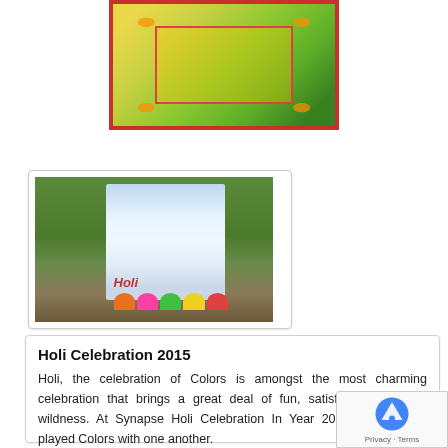[Figure (photo): Colorful rangoli artwork with candles on the ground, viewed from above. Yellow and green colored design with red border and decorative candles at corners.]
[Figure (photo): Holi celebration setup with a banner reading 'Holi' and colorful powder piles (orange, pink, green, yellow) on a table, with green hedges in the background and a person standing nearby.]
Holi Celebration 2015
Holi, the celebration of Colors is amongst the most charming celebration that brings a great deal of fun, satisfaction & bit of wildness. At Synapse Holi Celebration In Year 2015, represented played Colors with one another.